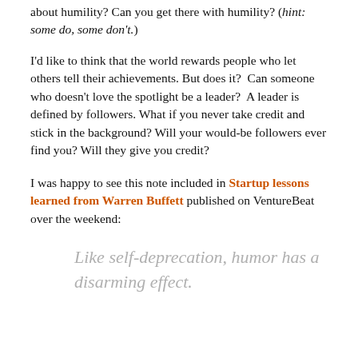about humility? Can you get there with humility? (hint: some do, some don't.)
I'd like to think that the world rewards people who let others tell their achievements. But does it?  Can someone who doesn't love the spotlight be a leader?  A leader is defined by followers. What if you never take credit and stick in the background? Will your would-be followers ever find you? Will they give you credit?
I was happy to see this note included in Startup lessons learned from Warren Buffett published on VentureBeat over the weekend:
Like self-deprecation, humor has a disarming effect.